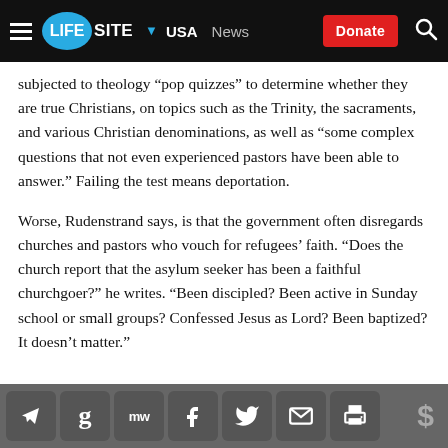LifeSite ▾ USA  News  Donate
subjected to theology “pop quizzes” to determine whether they are true Christians, on topics such as the Trinity, the sacraments, and various Christian denominations, as well as “some complex questions that not even experienced pastors have been able to answer.” Failing the test means deportation.
Worse, Rudenstrand says, is that the government often disregards churches and pastors who vouch for refugees’ faith. “Does the church report that the asylum seeker has been a faithful churchgoer?” he writes. “Been discipled? Been active in Sunday school or small groups? Confessed Jesus as Lord? Been baptized? It doesn’t matter.”
Social share icons: Telegram, Google, MeWe, Facebook, Twitter, Email, Print, Donate